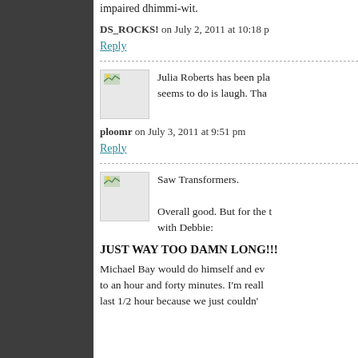impaired dhimmi-wit.
DS_ROCKS! on July 2, 2011 at 10:18 pm
Reply
Julia Roberts has been pla… seems to do is laugh. Tha…
ploomr on July 3, 2011 at 9:51 pm
Reply
Saw Transformers.
Overall good. But for the t… with Debbie:
JUST WAY TOO DAMN LONG!!!
Michael Bay would do himself and ev… to an hour and forty minutes. I'm reall… last 1/2 hour because we just couldn'…